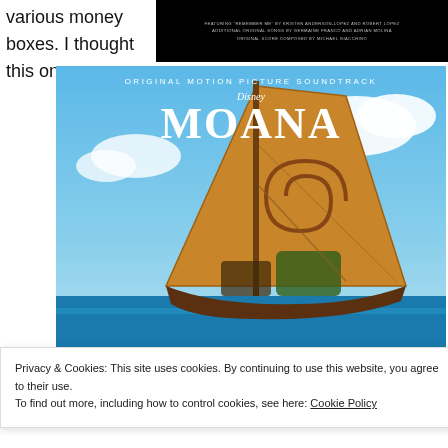various money boxes. I thought this one
[Figure (photo): Coco Original Motion Picture Soundtrack album cover — black background with small print text: Featuring 'Remember Me' by Kristen Anderson-Lopez and Robert Lopez, Additional Original Songs by Germaine Franco and Adrian Molina, Original Score Composed by Michael Giacchino]
[Figure (photo): Moana Original Motion Picture Soundtrack Disney album cover — blue sky background with large white stylized MOANA title text, Disney logo above, sailboat with large orange spiral sail and characters in ocean]
Privacy & Cookies: This site uses cookies. By continuing to use this website, you agree to their use.
To find out more, including how to control cookies, see here: Cookie Policy